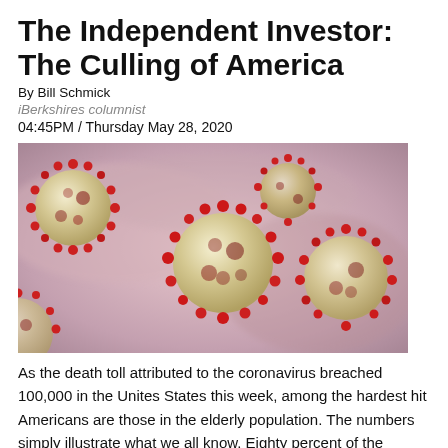The Independent Investor: The Culling of America
By Bill Schmick
iBerkshires columnist
04:45PM / Thursday May 28, 2020
[Figure (photo): Close-up illustration of coronavirus particles — spherical virus bodies with red spike proteins on a blurred pink/purple background.]
As the death toll attributed to the coronavirus breached 100,000 in the Unites States this week, among the hardest hit Americans are those in the elderly population. The numbers simply illustrate what we all know. Eighty percent of the known fatalities were at least 65 years old. As such, the virus appears to be very good at selective